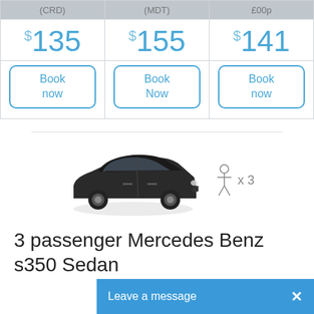| (CRD) | (MDT) | £00p |
| --- | --- | --- |
| $135 | $155 | $141 |
| Book now | Book Now | Book now |
[Figure (photo): Black Mercedes Benz S350 Sedan car with person icon x 3 passenger capacity indicator]
3 passenger Mercedes Benz s350 Sedan
Leave a message  ×